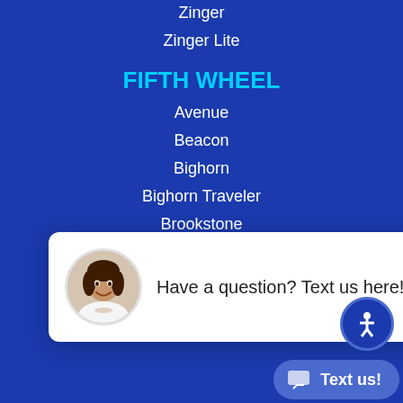Zinger
Zinger Lite
FIFTH WHEEL
Avenue
Beacon
Bighorn
Bighorn Traveler
Brookstone
Chaparral
Chaparral Lite
Flagstaff Super Lite
Impression
Mobile Suites
Montana High Country
[Figure (other): Chat widget popup with a smiling woman avatar and text 'Have a question? Text us here!' with a close button, accessibility icon, and Text us button]